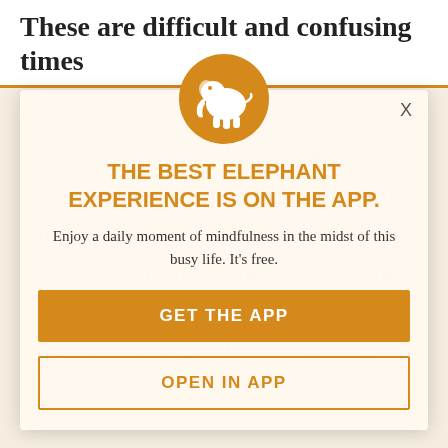These are difficult and confusing times
I don't have to tell you that. Everywhere you turn, there is an unprecedented virus. We wake up every morning to the news of the COVID-19 news involving our mental places and well-being...
X
[Figure (logo): Orange circle with white elephant silhouette - Elephant Journal app logo]
THE BEST ELEPHANT EXPERIENCE IS ON THE APP.
Enjoy a daily moment of mindfulness in the midst of this busy life. It's free.
GET THE APP
OPEN IN APP